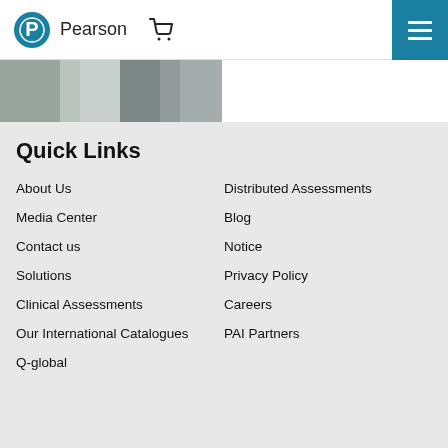Pearson
[Figure (photo): Partial photo showing a person near a whiteboard or wall, cropped at top]
Quick Links
About Us
Distributed Assessments
Media Center
Blog
Contact us
Notice
Solutions
Privacy Policy
Clinical Assessments
Careers
Our International Catalogues
PAI Partners
Q-global